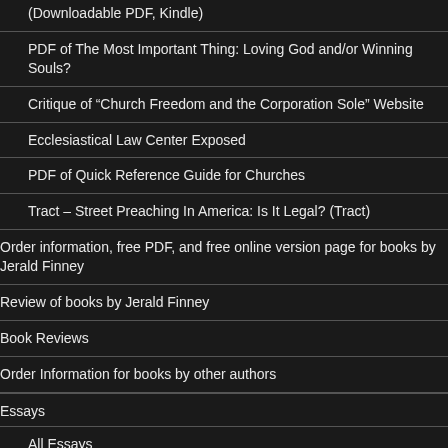(Downloadable PDF, Kindle)
PDF of The Most Important Thing: Loving God and/or Winning Souls?
Critique of “Church Freedom and the Corporation Sole” Website
Ecclesiastical Law Center Exposed
PDF of Quick Reference Guide for Churches
Tract – Street Preaching In America: Is It Legal? (Tract)
Order information, free PDF, and free online version page for books by Jerald Finney
Review of books by Jerald Finney
Book Reviews
Order Information for books by other authors
Essays
All Essays